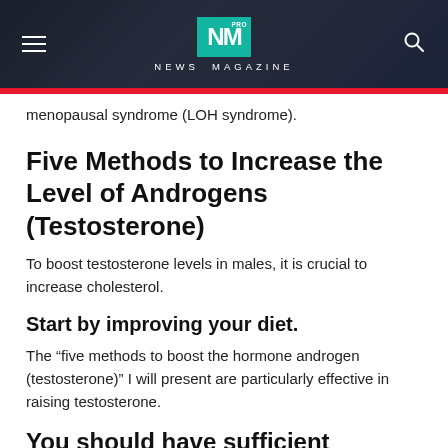NM PRO NEWS MAGAZINE
menopausal syndrome (LOH syndrome).
Five Methods to Increase the Level of Androgens (Testosterone)
To boost testosterone levels in males, it is crucial to increase cholesterol.
Start by improving your diet.
The “five methods to boost the hormone androgen (testosterone)” I will present are particularly effective in raising testosterone.
You should have sufficient protein, fat, and